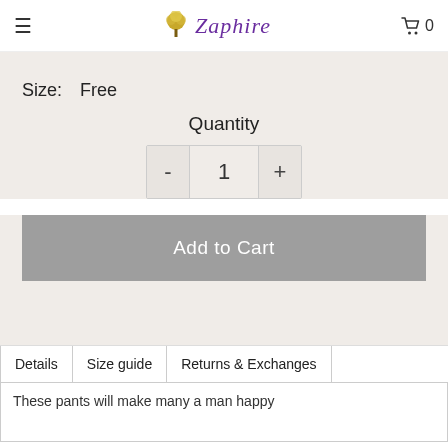Zaphire — navigation header with hamburger menu, logo, and cart (0)
Size: Free
Quantity
- 1 +
Add to Cart
Details | Size guide | Returns & Exchanges
These pants will make many a man happy